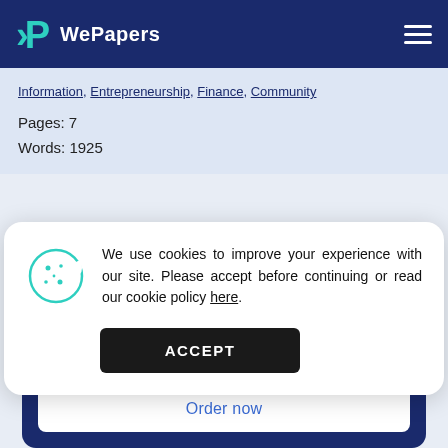WePapers
Information, Entrepreneurship, Finance, Community
Pages: 7
Words: 1925
We use cookies to improve your experience with our site. Please accept before continuing or read our cookie policy here.
ACCEPT
custom-written for you by the professionals.
Order now